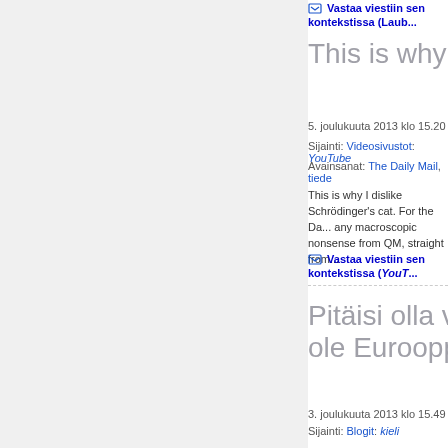Vastaa viestiin sen kontekstissa (Laub...
This is why I dislike Sc...
5. joulukuuta 2013 klo 15.20
Sijainti: Videosivustot: YouTube
Avainsanat: The Daily Mail, tiede
This is why I dislike Schrödinger's cat. For the Da... any macroscopic nonsense from QM, straight from...
Vastaa viestiin sen kontekstissa (YouT...
Pitäisi olla vain tyytyvä... ole Eurooppa Liiga
3. joulukuuta 2013 klo 15.49
Sijainti: Blogit: kieli
Avainsanat: urheilu